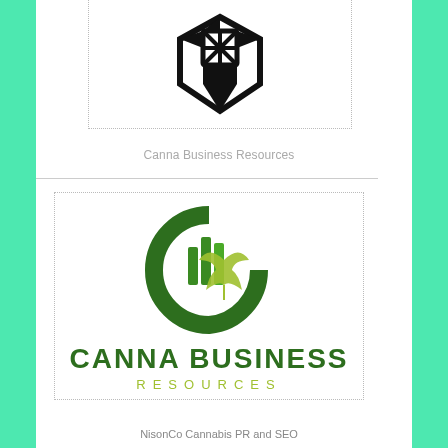[Figure (logo): Black geometric shield/diamond logo with cross pattern — NisonCo or partner brand top logo]
Canna Business Resources
[Figure (logo): Canna Business Resources logo: circular green C-shape with bar chart and cannabis leaf inside, with bold green text CANNA BUSINESS RESOURCES below]
NisonCo Cannabis PR and SEO